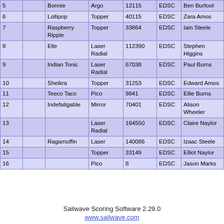| # |  | Boat Name | Class | Sail No. | Club | Helm |  |
| --- | --- | --- | --- | --- | --- | --- | --- |
| 5 |  | Bonnie | Argo | 12115 | EDSC | Ben Burfoot |  |
| 6 |  | Lollipop | Topper | 40115 | EDSC | Zara Amos |  |
| 7 |  | Raspberry Ripple | Topper | 33864 | EDSC | Iain Steele |  |
| 8 |  | Elle | Laser Radial | 112390 | EDSC | Stephen Higgins |  |
| 9 |  | Indian Tonic | Laser Radial | 67038 | EDSC | Paul Burns |  |
| 10 |  | Sheikra | Topper | 31253 | EDSC | Edward Amos |  |
| 11 |  | Teeco Taco | Pico | 9841 | EDSC | Ellie Burns |  |
| 12 |  | Indefatigable | Mirror | 70401 | EDSC | Alison Wheeler |  |
| 13 |  |  | Laser Radial | 164550 | EDSC | Claire Naylor |  |
| 14 |  | Ragamuffin | Laser | 140086 | EDSC | Izaac Steele |  |
| 15 |  |  | Topper | 33149 | EDSC | Elliot Naylor |  |
| 16 |  |  | Pico | 8 | EDSC | Jason Marks |  |
Sailwave Scoring Software 2.29.0
www.sailwave.com